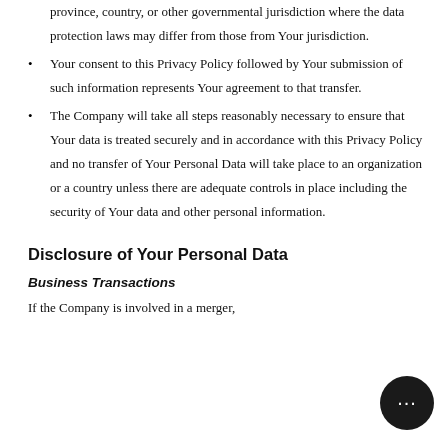province, country, or other governmental jurisdiction where the data protection laws may differ from those from Your jurisdiction.
Your consent to this Privacy Policy followed by Your submission of such information represents Your agreement to that transfer.
The Company will take all steps reasonably necessary to ensure that Your data is treated securely and in accordance with this Privacy Policy and no transfer of Your Personal Data will take place to an organization or a country unless there are adequate controls in place including the security of Your data and other personal information.
Disclosure of Your Personal Data
Business Transactions
If the Company is involved in a merger,